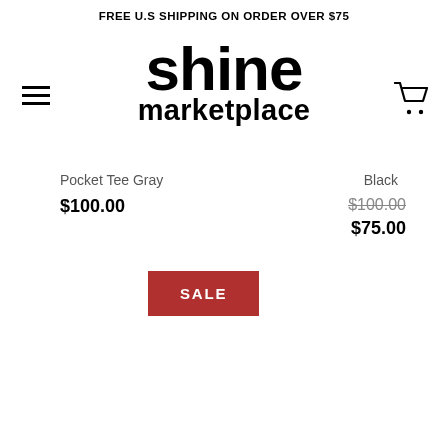FREE U.S SHIPPING ON ORDER OVER $75
[Figure (logo): Shine Marketplace logo — large bold text reading 'shine' above 'marketplace']
Pocket Tee Gray
$100.00
Black
$100.00 (strikethrough)
$75.00
SALE